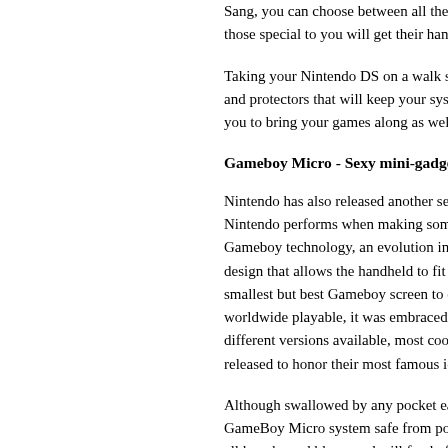Sang, you can choose between all the cool co... those special to you will get their hands on the...
Taking your Nintendo DS on a walk screams fo... and protectors that will keep your system safe... you to bring your games along as well.
Gameboy Micro - Sexy mini-gadget with ba...
Nintendo has also released another sexy gizm... Nintendo performs when making something al... Gameboy technology, an evolution in handheld... design that allows the handheld to fit in any po... smallest but best Gameboy screen to date. Wi... worldwide playable, it was embraced with a lot... different versions available, most cool and coll... released to honor their most famous icon, cele...
Although swallowed by any pocket easily, dedi... GameBoy Micro system safe from potential ha... all knocks and blows and will fend off scratche...
Nintendo Collectibles and Figures Frenzy
When it comes to videogame related toys and... at what the Japanese market abundantly offers... your shrine - dedicated to a beloved videogam... empty space on your computer desk or you're... collector in your life, Lily Sang get you covere...